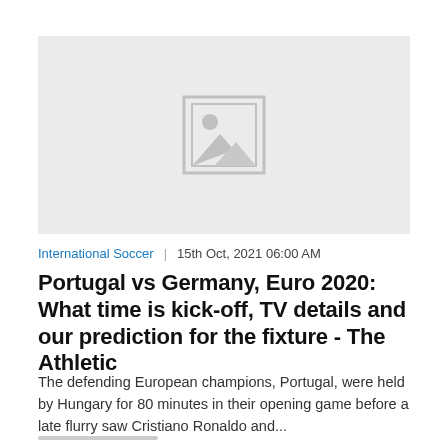[Figure (photo): Image placeholder with a mountain and sun icon on a light grey background]
International Soccer  |  15th Oct, 2021 06:00 AM
Portugal vs Germany, Euro 2020: What time is kick-off, TV details and our prediction for the fixture - The Athletic
The defending European champions, Portugal, were held by Hungary for 80 minutes in their opening game before a late flurry saw Cristiano Ronaldo and...